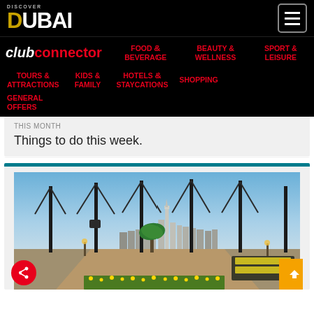DISCOVER DUBAI
club connector | FOOD & BEVERAGE | BEAUTY & WELLNESS | SPORT & LEISURE | TOURS & ATTRACTIONS | KIDS & FAMILY | HOTELS & STAYCATIONS | SHOPPING | GENERAL OFFERS
THIS MONTH
Things to do this week.
[Figure (photo): Rooftop venue or outdoor bar/restaurant with tall steel poles and crossed beams, Dubai city skyline including Burj Khalifa visible in background, blue sky, palm trees, outdoor seating with yellow cushions]